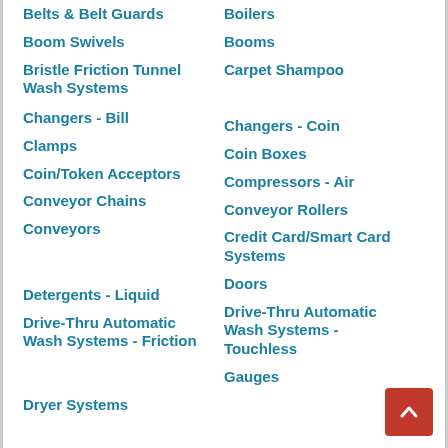Belts & Belt Guards
Boilers
Boom Swivels
Booms
Bristle Friction Tunnel Wash Systems
Carpet Shampoo
Changers - Bill
Changers - Coin
Clamps
Coin Boxes
Coin/Token Acceptors
Compressors - Air
Conveyor Chains
Conveyor Rollers
Conveyors
Credit Card/Smart Card Systems
Detergents - Liquid
Doors
Drive-Thru Automatic Wash Systems - Friction
Drive-Thru Automatic Wash Systems - Touchless
Dryer Systems
Gauges